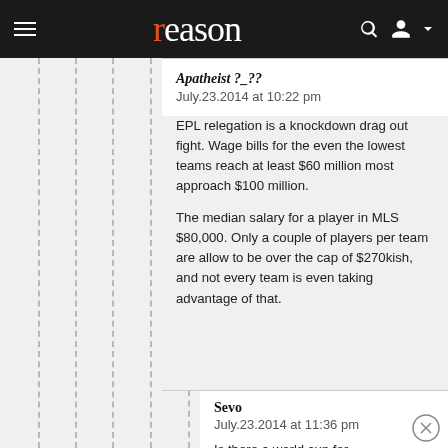reason
Apatheist ?_??
July.23.2014 at 10:22 pm

EPL relegation is a knockdown drag out fight. Wage bills for the even the lowest teams reach at least $60 million most approach $100 million.

The median salary for a player in MLS $80,000. Only a couple of players per team are allow to be over the cap of $270kish, and not every team is even taking advantage of that.
Sevo
July.23.2014 at 11:36 pm

Is there a world cup for tiddlywinks?
Apatheist ?_??
July.23.2014 at 11:41 pm

Apparently